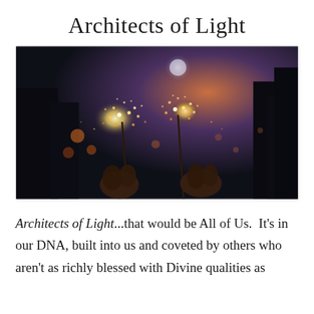Architects of Light
[Figure (photo): Two hands holding sparklers against a dark twilight sky with warm bokeh lights and orange-tinted clouds in the background.]
Architects of Light...that would be All of Us.  It's in our DNA, built into us and coveted by others who aren't as richly blessed with Divine qualities as